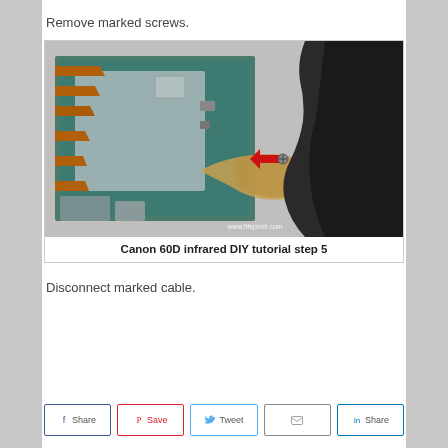Remove marked screws.
[Figure (photo): Close-up photo of Canon 60D camera internals showing circuit board, flex cables, and a red arrow pointing to a marked screw. Watermark: www.lifepixel.com]
Canon 60D infrared DIY tutorial step 5
Disconnect marked cable.
[Figure (other): Social sharing buttons: Share (Facebook), Save (Pinterest), Tweet (Twitter), Email, Share (LinkedIn)]